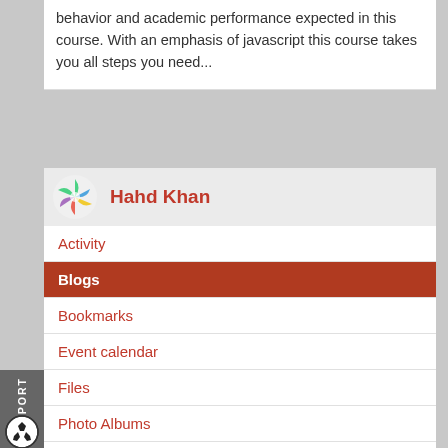behavior and academic performance expected in this course. With an emphasis of javascript this course takes you all steps you need...
[Figure (logo): Colorful pinwheel/star logo icon for user Hahd Khan]
Hahd Khan
Activity
Blogs
Bookmarks
Event calendar
Files
Photo Albums
Photos
Pinboards
Polls
Recommended content
Wikis